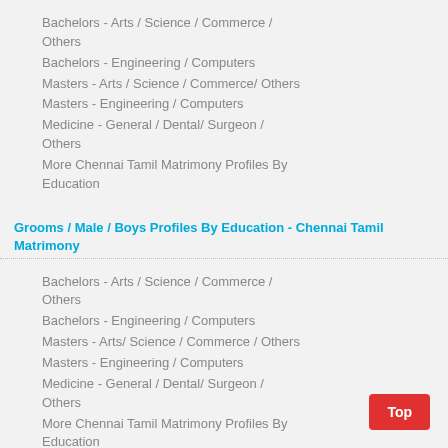Bachelors - Arts / Science / Commerce / Others
Bachelors - Engineering / Computers
Masters - Arts / Science / Commerce/ Others
Masters - Engineering / Computers
Medicine - General / Dental/ Surgeon / Others
More Chennai Tamil Matrimony Profiles By Education
Grooms / Male / Boys Profiles By Education - Chennai Tamil Matrimony
Bachelors - Arts / Science / Commerce / Others
Bachelors - Engineering / Computers
Masters - Arts/ Science / Commerce / Others
Masters - Engineering / Computers
Medicine - General / Dental/ Surgeon / Others
More Chennai Tamil Matrimony Profiles By Education